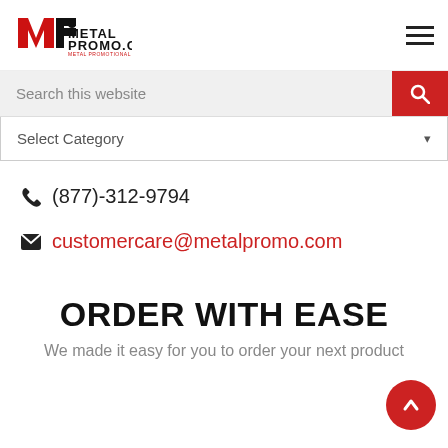[Figure (logo): MetalPromo.com logo with MP icon and tagline 'Metal Promotional Products']
[Figure (other): Hamburger menu icon (three horizontal lines)]
Search this website
Select Category
(877)-312-9794
customercare@metalpromo.com
ORDER WITH EASE
We made it easy for you to order your next product